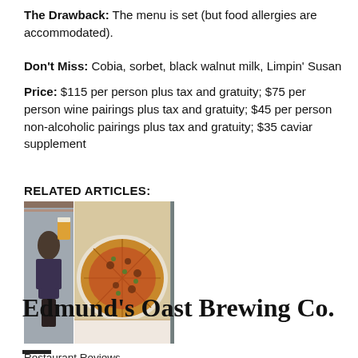The Drawback: The menu is set (but food allergies are accommodated).
Don't Miss: Cobia, sorbet, black walnut milk, Limpin' Susan
Price: $115 per person plus tax and gratuity; $75 per person wine pairings plus tax and gratuity; $45 per person non-alcoholic pairings plus tax and gratuity; $35 caviar supplement
RELATED ARTICLES:
[Figure (photo): Composite of three restaurant-related photos: a man standing in a bar/restaurant, a whole pizza with toppings on a plate, and a restaurant interior scene.]
Restaurant Reviews
Edmund's Oast Brewing Co.